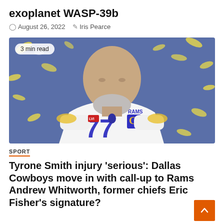exoplanet WASP-39b
August 26, 2022   Iris Pearce
[Figure (photo): A bald man with a gray beard wearing a white Los Angeles Rams NFL jersey number 77 with a captain C patch, celebrating with blue and yellow confetti in the background. A '3 min read' badge overlays the top-left corner.]
SPORT
Tyrone Smith injury 'serious': Dallas Cowboys move in with call-up to Rams Andrew Whitworth, former chiefs Eric Fisher's signature?